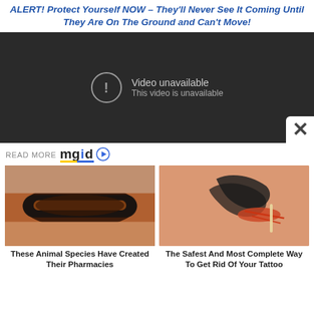ALERT! Protect Yourself NOW – They'll Never See It Coming Until They Are On The Ground and Can't Move!
[Figure (screenshot): Embedded video player showing 'Video unavailable / This video is unavailable' error message on dark background, with a close (X) button in the bottom right corner.]
READ MORE mgid
[Figure (photo): Photo of a fuzzy caterpillar (woolly bear or similar) with brown and black fur being held in a human hand.]
These Animal Species Have Created Their Pharmacies
[Figure (photo): Photo of a tattoo removal procedure on a person's arm showing a tribal tattoo being treated with a needle or tool.]
The Safest And Most Complete Way To Get Rid Of Your Tattoo